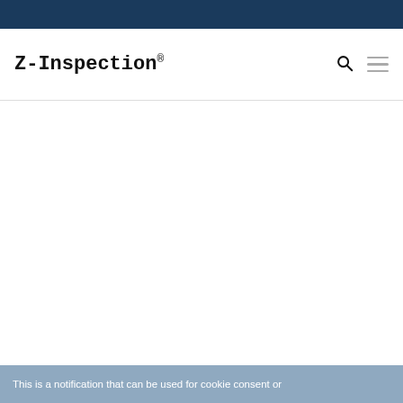[Figure (logo): Z-Inspection® logo with search and hamburger menu icons]
This is a notification that can be used for cookie consent or